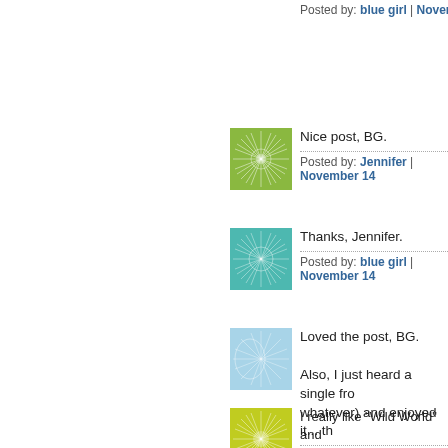Posted by: blue girl | November 14
[Figure (illustration): Green radial flower/starburst avatar icon]
Nice post, BG.
Posted by: Jennifer | November 14
[Figure (illustration): Teal radial fiber/starburst avatar icon]
Thanks, Jennifer.
Posted by: blue girl | November 14
[Figure (illustration): Light blue radial fiber avatar icon]
Loved the post, BG.

Also, I just heard a single from whatever) and enjoyed it... th
Posted by: Claire | November 14, 2
[Figure (illustration): Olive/yellow-green radial flower avatar icon]
I really like "Wild World" and Couldn't deal with "Morning h the fact that is Rick Wake

The yusef mustachea factor i